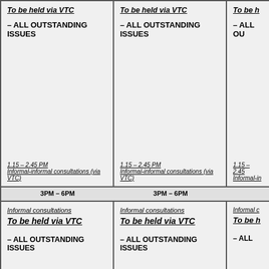| Column 1 | Column 2 | Column 3 (partial) |
| --- | --- | --- |
| To be held via VTC
– ALL OUTSTANDING ISSUES

1.15 – 2.45 PM
Informal-informal consultations (via VTC) | To be held via VTC
– ALL OUTSTANDING ISSUES

1.15 – 2.45 PM
Informal-informal consultations (via VTC) | To be h...
– ALL OU...

1.15 – 2.45...
Informal-in... |
| 3PM – 6PM | 3PM – 6PM |  |
| Informal consultations
To be held via VTC
– ALL OUTSTANDING ISSUES | Informal consultations
To be held via VTC
– ALL OUTSTANDING ISSUES | Informal c...
To be h...
– ALL ... |